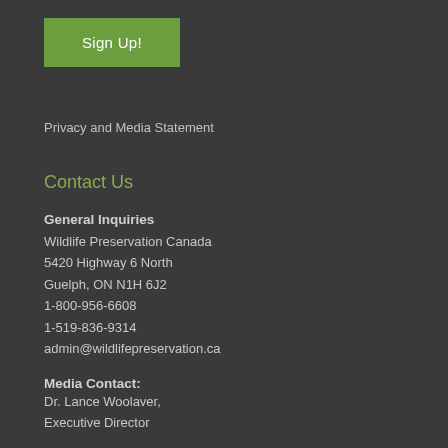Sign Up!
Privacy and Media Statement
Contact Us
General Inquiries
Wildlife Preservation Canada
5420 Highway 6 North
Guelph, ON N1H 6J2
1-800-956-6608
1-519-836-9314
admin@wildlifepreservation.ca
Media Contact:
Dr. Lance Woolaver,
Executive Director